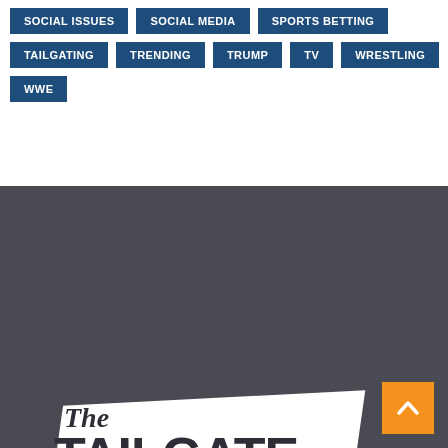SOCIAL ISSUES
SOCIAL MEDIA
SPORTS BETTING
TAILGATING
TRENDING
TRUMP
TV
WRESTLING
WWE
[Figure (logo): The Tailgate Society logo — white banner with bold dark text reading 'The TAILGATE SOCIETY' on a dark gray background with hatched lower-left accent, displayed at an angle]
[Figure (other): Orange back-to-top button with upward chevron arrow]